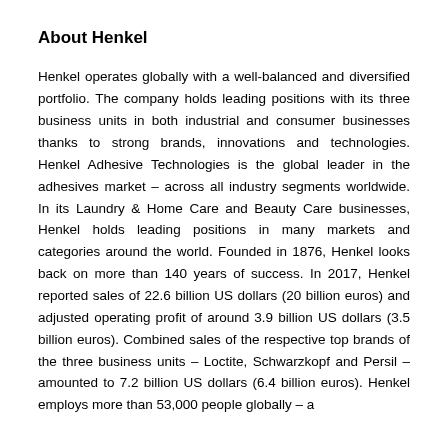About Henkel
Henkel operates globally with a well-balanced and diversified portfolio. The company holds leading positions with its three business units in both industrial and consumer businesses thanks to strong brands, innovations and technologies. Henkel Adhesive Technologies is the global leader in the adhesives market – across all industry segments worldwide. In its Laundry & Home Care and Beauty Care businesses, Henkel holds leading positions in many markets and categories around the world. Founded in 1876, Henkel looks back on more than 140 years of success. In 2017, Henkel reported sales of 22.6 billion US dollars (20 billion euros) and adjusted operating profit of around 3.9 billion US dollars (3.5 billion euros). Combined sales of the respective top brands of the three business units – Loctite, Schwarzkopf and Persil – amounted to 7.2 billion US dollars (6.4 billion euros). Henkel employs more than 53,000 people globally – a